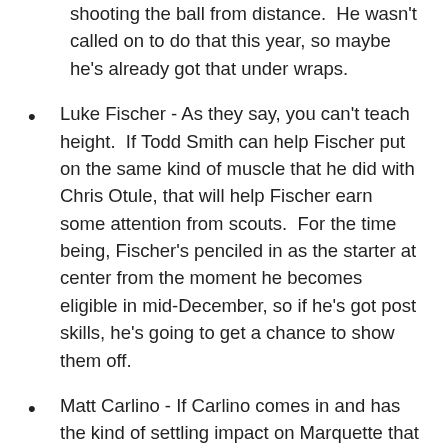shooting the ball from distance.  He wasn't called on to do that this year, so maybe he's already got that under wraps.
Luke Fischer - As they say, you can't teach height.  If Todd Smith can help Fischer put on the same kind of muscle that he did with Chris Otule, that will help Fischer earn some attention from scouts.  For the time being, Fischer's penciled in as the starter at center from the moment he becomes eligible in mid-December, so if he's got post skills, he's going to get a chance to show them off.
Matt Carlino - If Carlino comes in and has the kind of settling impact on Marquette that Trent Lockett did in his graduate transfer season, then Carlino could grab some attention.  He's going to have to show some better shooting than he has in the past...